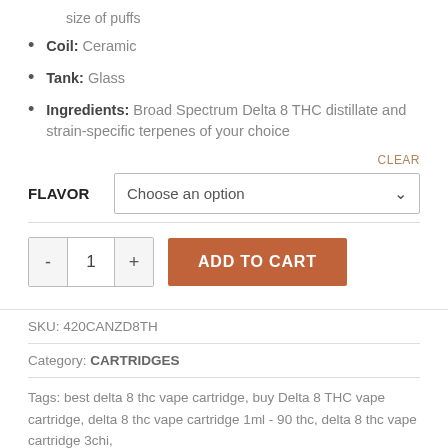size of puffs
Coil: Ceramic
Tank: Glass
Ingredients: Broad Spectrum Delta 8 THC distillate and strain-specific terpenes of your choice
CLEAR
FLAVOR   Choose an option
1   ADD TO CART
SKU: 420CANZD8TH
Category: CARTRIDGES
Tags: best delta 8 thc vape cartridge, buy Delta 8 THC vape cartridge, delta 8 thc vape cartridge 1ml - 90 thc, delta 8 thc vape cartridge 3chi,